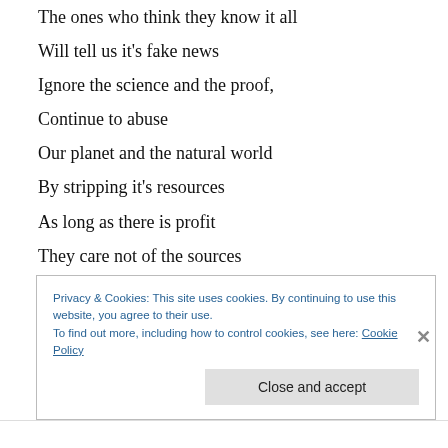The ones who think they know it all
Will tell us it's fake news
Ignore the science and the proof,
Continue to abuse
Our planet and the natural world
By stripping it's resources
As long as there is profit
They care not of the sources
Let's create a new normal
Find the true meaning of wealth
Privacy & Cookies: This site uses cookies. By continuing to use this website, you agree to their use.
To find out more, including how to control cookies, see here: Cookie Policy